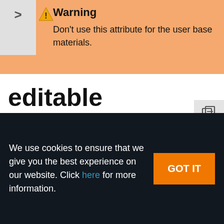Warning
Don't use this attribute for the user base materials.
editable
A flag, indicating if all the base material settings can be changed in the Parameters window or via API.
We use cookies to ensure that we give you the best experience on our website. Click here for more information.